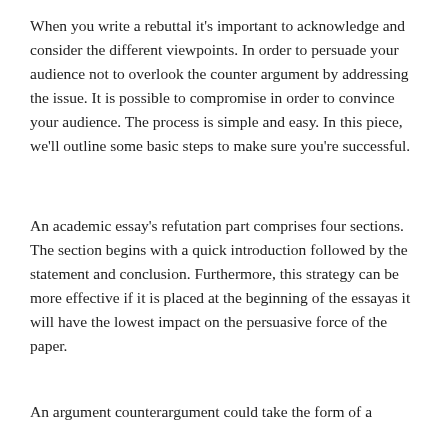When you write a rebuttal it's important to acknowledge and consider the different viewpoints. In order to persuade your audience not to overlook the counter argument by addressing the issue. It is possible to compromise in order to convince your audience. The process is simple and easy. In this piece, we'll outline some basic steps to make sure you're successful.
An academic essay's refutation part comprises four sections. The section begins with a quick introduction followed by the statement and conclusion. Furthermore, this strategy can be more effective if it is placed at the beginning of the essayas it will have the lowest impact on the persuasive force of the paper.
An argument counterargument could take the form of a